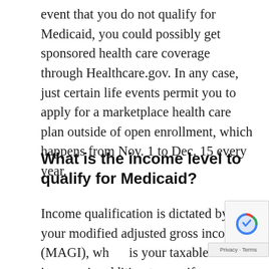event that you do not qualify for Medicaid, you could possibly get sponsored health care coverage through Healthcare.gov. In any case, just certain life events permit you to apply for a marketplace health care plan outside of open enrollment, which happens from Nov. 1 to Dec. 15 every year.
What is the income level to qualify for Medicaid?
Income qualification is dictated by your modified adjusted gross income (MAGI), which is your taxable income, in addition to specific deductions. Those allowances incorporate non-